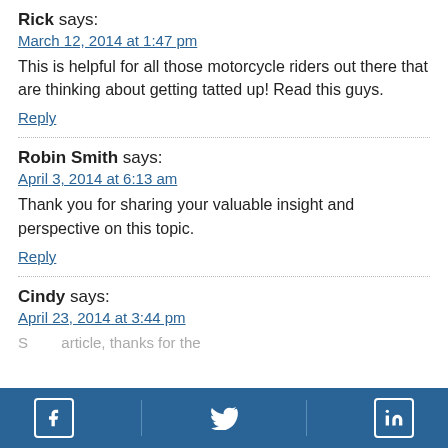Rick says:
March 12, 2014 at 1:47 pm
This is helpful for all those motorcycle riders out there that are thinking about getting tatted up! Read this guys.
Reply
Robin Smith says:
April 3, 2014 at 6:13 am
Thank you for sharing your valuable insight and perspective on this topic.
Reply
Cindy says:
April 23, 2014 at 3:44 pm
[Figure (other): Social media footer bar with Facebook, Twitter, and LinkedIn icons on blue background]